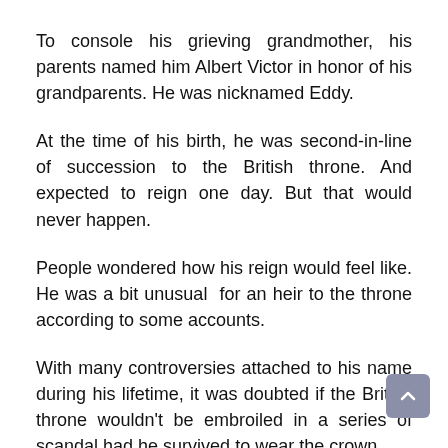To console his grieving grandmother, his parents named him Albert Victor in honor of his grandparents. He was nicknamed Eddy.
At the time of his birth, he was second-in-line of succession to the British throne. And expected to reign one day. But that would never happen.
People wondered how his reign would feel like. He was a bit unusual for an heir to the throne according to some accounts.
With many controversies attached to his name during his lifetime, it was doubted if the British throne wouldn't be embroiled in a series of scandal had he survived to wear the crown.
Much of his adult life, especially his sexuality and mental health, had been the subject of intense public speculation.